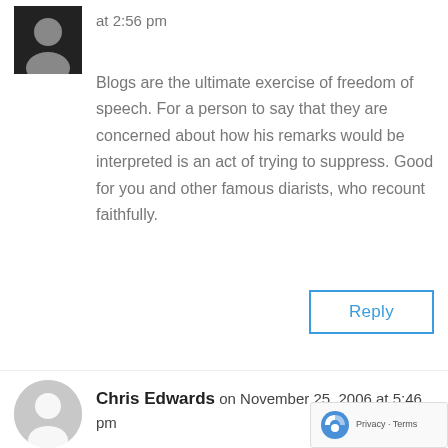[Figure (photo): Small profile photo thumbnail of a person in the top-left corner]
at 2:56 pm
Blogs are the ultimate exercise of freedom of speech. For a person to say that they are concerned about how his remarks would be interpreted is an act of trying to suppress. Good for you and other famous diarists, who recount faithfully.
Reply
[Figure (illustration): Gray circular avatar placeholder with a person silhouette icon]
Chris Edwards on November 25, 2006 at 5:46 pm
If it was worth it, yes. But to do that, I think I'd want to check that the speaker meant what they said first.
However, you seem to be confused as to what the Chatham House rule actually